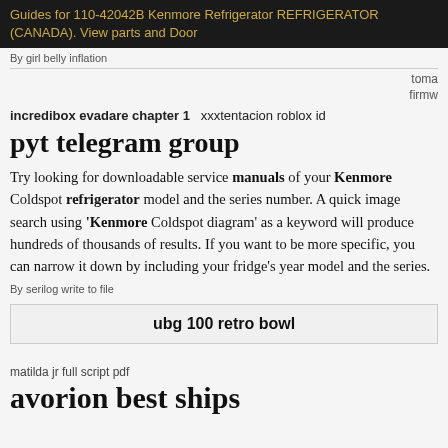Guides for 110-42042B Kenmore Refrigerator REFRIGERATOR (CANADA). View parts and Door
By girl belly inflation
toma
firmw
incredibox evadare chapter 1   xxxtentacion roblox id
pyt telegram group
Try looking for downloadable service manuals of your Kenmore Coldspot refrigerator model and the series number. A quick image search using 'Kenmore Coldspot diagram' as a keyword will produce hundreds of thousands of results. If you want to be more specific, you can narrow it down by including your fridge's year model and the series.
By serilog write to file
ubg 100 retro bowl
matilda jr full script pdf
avorion best ships